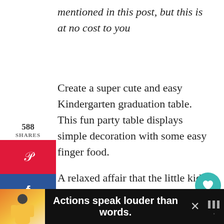mentioned in this post, but this is at no cost to you
Create a super cute and easy Kindergarten graduation table. This fun party table displays simple decoration with some easy finger food.
A relaxed affair that the little kids will enjoy whilst also making them feel special.
[Figure (infographic): Social sharing sidebar widget on the left showing 588 SHARES count, red Pinterest button with P icon, dark blue Facebook button with f icon, light blue Twitter button with bird icon]
[Figure (infographic): Right-side floating share widget with teal heart button showing 589 count and teal share icon button]
[Figure (screenshot): Ad banner at the bottom showing a person in yellow shirt, text 'Actions speak louder than words.' in white on dark background, close X button, and Wealthsimple logo]